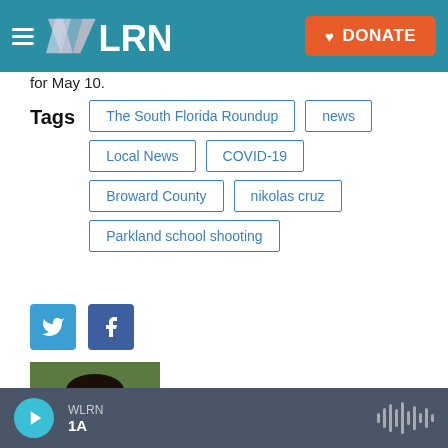WLRN | DONATE
for May 10.
Tags: The South Florida Roundup | news | Local News | COVID-19 | Broward County | nikolas cruz | Parkland school shooting
[Figure (logo): Twitter and Facebook social share buttons]
[Figure (photo): Headshot photo of Natu Tweh, a young Black man outdoors]
Natu Tweh
WLRN | 1A | audio player bar